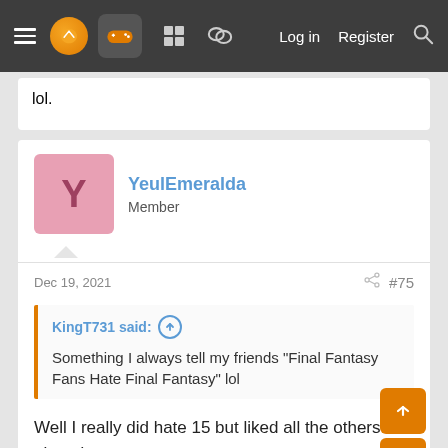Navigation bar with menu, logo, controller icon, grid, chat, Log in, Register, Search
lol.
YeulEmeralda
Member
Dec 19, 2021
#75
KingT731 said:
Something I always tell my friends "Final Fantasy Fans Hate Final Fantasy" lol
Well I really did hate 15 but liked all the others I played.
But I don't want an action game. Something like 13-2 would be cool.
◄◄  ◄ Prev  2 of 2